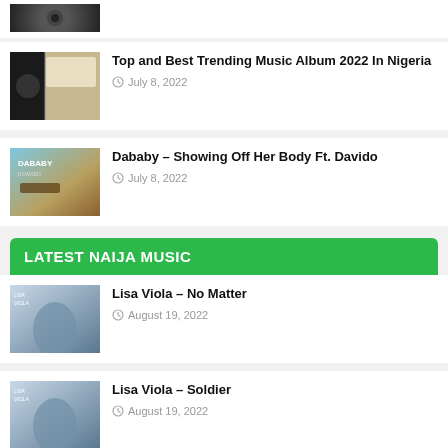[Figure (photo): Partial album/artist thumbnail at top, dark background]
[Figure (photo): Album art thumbnail for Top and Best Trending Music Album 2022 In Nigeria]
Top and Best Trending Music Album 2022 In Nigeria
July 8, 2022
[Figure (photo): Dababy album thumbnail with blue/gold tones and Dababy text]
Dababy – Showing Off Her Body Ft. Davido
July 8, 2022
LATEST NAIJA MUSIC
[Figure (photo): Lisa Viola album thumbnail with blue/grey tones]
Lisa Viola – No Matter
August 19, 2022
[Figure (photo): Lisa Viola album thumbnail with blue/grey tones]
Lisa Viola – Soldier
August 19, 2022